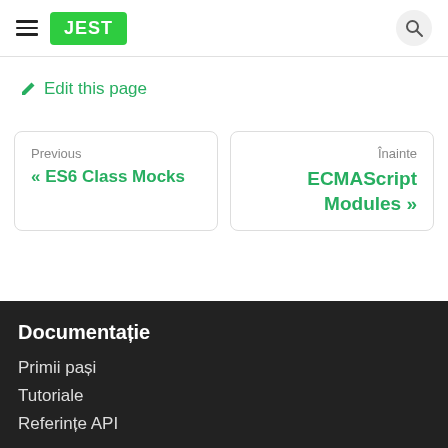JEST
✏ Edit this page
Previous
« ES6 Class Mocks
Înainte
ECMAScript Modules »
Documentație
Primii pași
Tutoriale
Referințe API